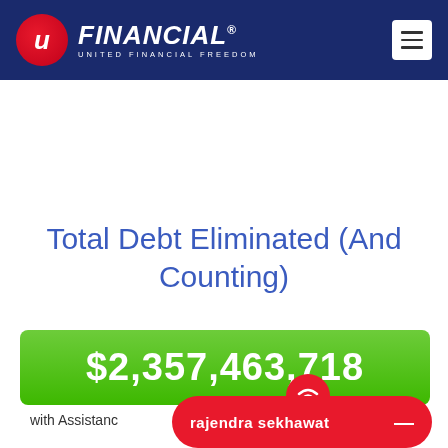[Figure (logo): U Financial - United Financial Freedom logo with red circle U icon and white text on dark navy blue header bar, with hamburger menu button on right]
Total Debt Eliminated (And Counting)
$2,357,463,718
with Assistance
rajendra sekhawat